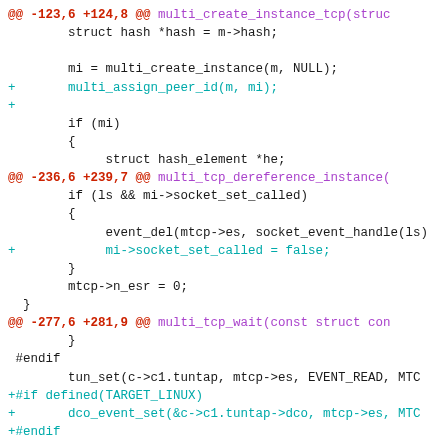[Figure (screenshot): A code diff screenshot showing changes to C source files. Red bold lines show hunk headers with line numbers and function names in purple. Cyan lines show added lines (+). Normal lines show unchanged context code.]